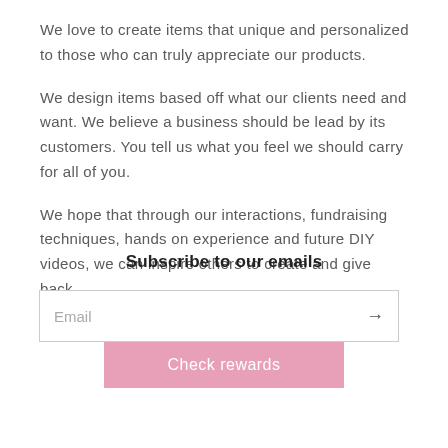We love to create items that unique and personalized to those who can truly appreciate our products.
We design items based off what our clients need and want. We believe a business should be lead by its customers. You tell us what you feel we should carry for all of you.
We hope that through our interactions, fundraising techniques, hands on experience and future DIY videos, we can inspire others to create and give back.
Subscribe to our emails
Email
Check rewards